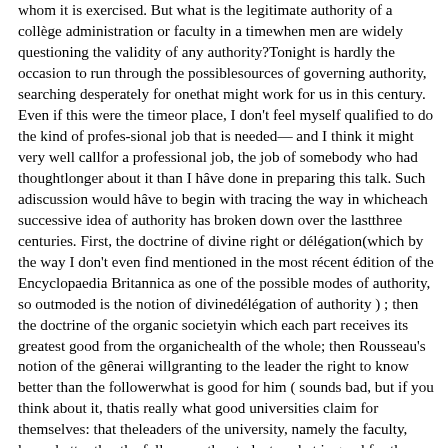whom it is exercised. But what is the legitimate authority of a collège administration or faculty in a timewhen men are widely questioning the validity of any authority?Tonight is hardly the occasion to run through the possiblesources of governing authority, searching desperately for onethat might work for us in this century. Even if this were the timeor place, I don't feel myself qualified to do the kind of profes-sional job that is needed— and I think it might very well callfor a professional job, the job of somebody who had thoughtlonger about it than I hâve done in preparing this talk. Such adiscussion would hâve to begin with tracing the way in whicheach successive idea of authority has broken down over the lastthree centuries. First, the doctrine of divine right or délégation(which by the way I don't even find mentioned in the most récent édition of the Encyclopaedia Britannica as one of the possible modes of authority, so outmoded is the notion of divinedélégation of authority ) ; then the doctrine of the organic societyin which each part receives its greatest good from the organichealth of the whole; then Rousseau's notion of the gênerai willgranting to the leader the right to know better than the followerwhat is good for him ( sounds bad, but if you think about it, thatis really what good universities claim for themselves: that theleaders of the university, namely the faculty, know better thanthe followers, the students, what is good for them education-ally) ; then the rise from this of various démocratie and libéraldoctrines in which the voice of the populace replaces the